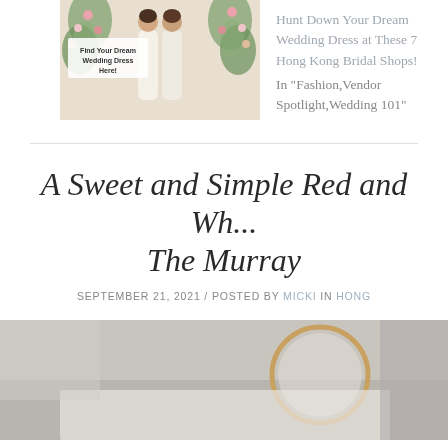[Figure (photo): Photo of two women in white wedding dresses standing in front of a floral arch, with overlay text 'Find Your Dream Wedding Dress Here!']
Hunt Down Your Dream Wedding Dress at These 7 Hong Kong Bridal Shops!
In "Fashion,Vendor Spotlight,Wedding 101"
A Sweet and Simple Red and Wh... The Murray
SEPTEMBER 21, 2021 / POSTED BY MICKI IN HONG...
[Figure (photo): Bottom portion of a photo, showing a table setting with a circular mirror or frame element in the foreground]